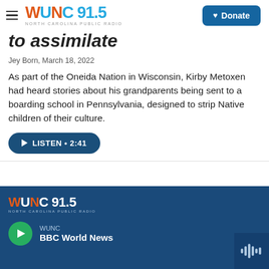[Figure (logo): WUNC 91.5 North Carolina Public Radio logo with hamburger menu icon and Donate button]
to assimilate
Jey Born,  March 18, 2022
As part of the Oneida Nation in Wisconsin, Kirby Metoxen had heard stories about his grandparents being sent to a boarding school in Pennsylvania, designed to strip Native children of their culture.
[Figure (other): Listen button showing play icon, LISTEN text, and duration 2:41]
[Figure (logo): WUNC 91.5 footer logo on dark blue background with BBC World News player]
WUNC
BBC World News